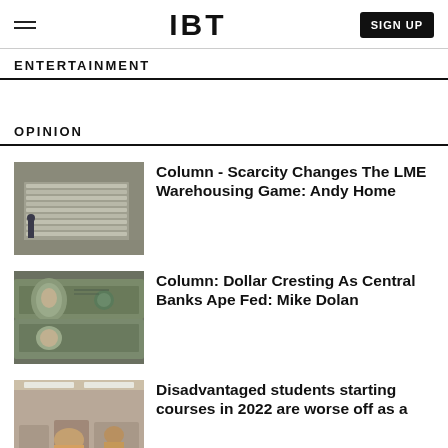IBT  SIGN UP
ENTERTAINMENT
OPINION
[Figure (photo): Stacks of metal ingots in a warehouse with a worker visible in the background]
Column - Scarcity Changes The LME Warehousing Game: Andy Home
[Figure (photo): Close-up of US dollar bills fanned out]
Column: Dollar Cresting As Central Banks Ape Fed: Mike Dolan
[Figure (photo): Students in a classroom or lecture hall setting]
Disadvantaged students starting courses in 2022 are worse off as a